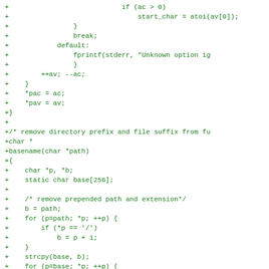+                            if (ac > 0)
+                                start_char = atoi(av[0]);
+                }
+                break;
+            default:
+                fprintf(stderr, "Unknown option ig
+                }
+        ++av; --ac;
+    }
+    *pac = ac;
+    *pav = av;
+}
+
+/* remove directory prefix and file suffix from fu
+char *
+basename(char *path)
+{
+    char *p, *b;
+    static char base[256];
+
+    /* remove prepended path and extension*/
+    b = path;
+    for (p=path; *p; ++p) {
+        if (*p == '/') 
+            b = p + 1;
+    }
+    strcpy(base, b);
+    for (p=base; *p; ++p) {
+        if (*p == '.') {
+            *p = 0;